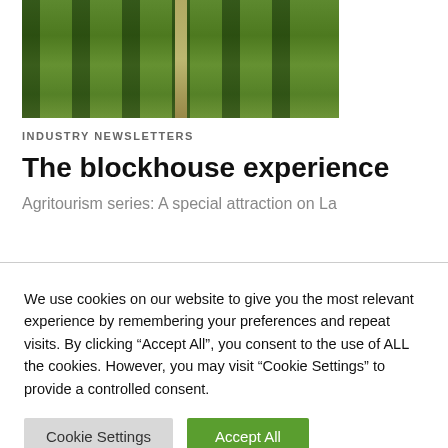[Figure (photo): Aerial view of rows of green trees/orchard with a dirt path running through the center]
INDUSTRY NEWSLETTERS
The blockhouse experience
Agritourism series: A special attraction on La
We use cookies on our website to give you the most relevant experience by remembering your preferences and repeat visits. By clicking “Accept All”, you consent to the use of ALL the cookies. However, you may visit "Cookie Settings" to provide a controlled consent.